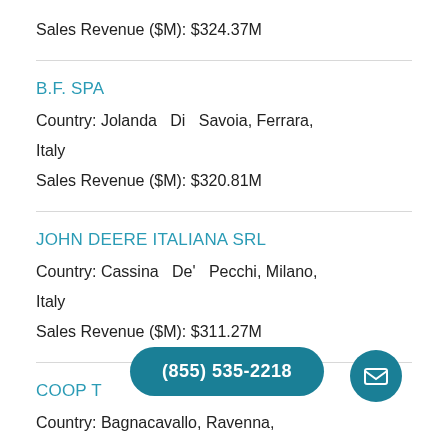Sales Revenue ($M): $324.37M
B.F. SPA
Country: Jolanda Di Savoia, Ferrara, Italy
Sales Revenue ($M): $320.81M
JOHN DEERE ITALIANA SRL
Country: Cassina De' Pecchi, Milano, Italy
Sales Revenue ($M): $311.27M
COOP T...OOP
Country: Bagnacavallo, Ravenna,